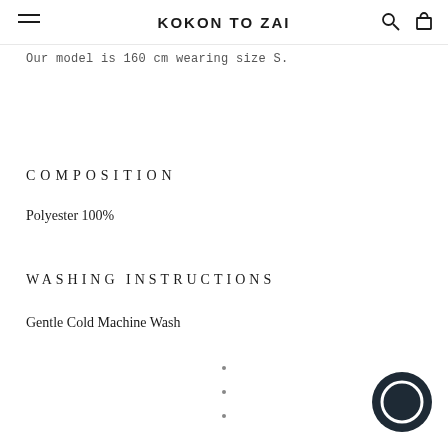KOKON TO ZAI
Our model is 160 cm wearing size S.
COMPOSITION
Polyester 100%
WASHING INSTRUCTIONS
Gentle Cold Machine Wash